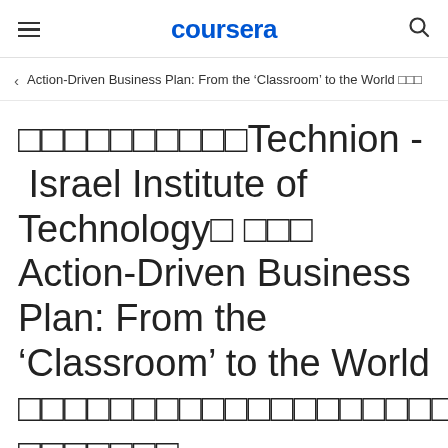coursera
Action-Driven Business Plan: From the ‘Classroom’ to the World □□□
□□□□□□□□□□Technion - Israel Institute of Technology□ □□□ Action-Driven Business Plan: From the ‘Classroom’ to the World □□□□□□□□□□□□□□□□□□□
□□□□□□□